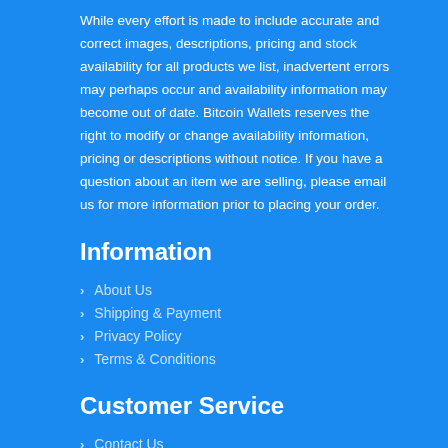While every effort is made to include accurate and correct images, descriptions, pricing and stock availability for all products we list, inadvertent errors may perhaps occur and availability information may become out of date. Bitcoin Wallets reserves the right to modify or change availability information, pricing or descriptions without notice. If you have a question about an item we are selling, please email us for more information prior to placing your order.
Information
About Us
Shipping & Payment
Privacy Policy
Terms & Conditions
Customer Service
Contact Us
Sitemap
Facebook